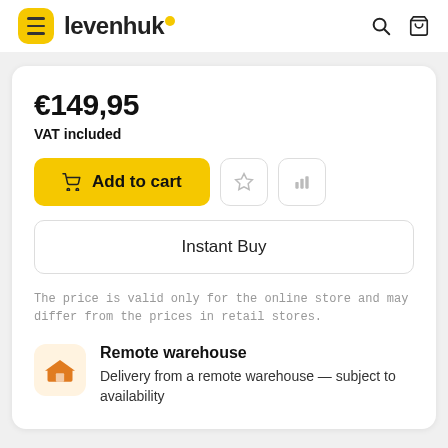levenhuk
€149,95
VAT included
Add to cart
Instant Buy
The price is valid only for the online store and may differ from the prices in retail stores.
Remote warehouse
Delivery from a remote warehouse — subject to availability